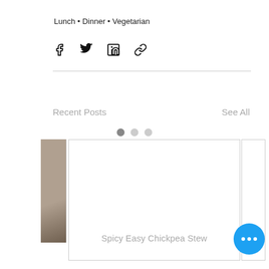Lunch • Dinner • Vegetarian
[Figure (infographic): Social share icons: Facebook, Twitter, LinkedIn, and link/chain icon]
Recent Posts
See All
[Figure (photo): Carousel of recent posts showing a card for 'Spicy Easy Chickpea Stew' with a white card area, a partially visible image on the left, and a blue more-options button]
Spicy Easy Chickpea Stew